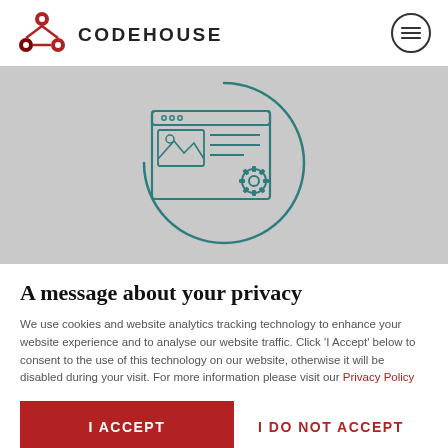[Figure (logo): Codehouse logo: red interconnected nodes icon with CODEHOUSE text in bold dark letters]
[Figure (other): Hamburger menu icon (three horizontal lines inside a circle outline) in the top right corner]
[Figure (illustration): Teal/dark cyan line-art illustration of a browser window with an image placeholder and text lines, plus a gear/settings icon, all inside a partial circle outline, on a gray background]
A message about your privacy
We use cookies and website analytics tracking technology to enhance your website experience and to analyse our website traffic. Click 'I Accept' below to consent to the use of this technology on our website, otherwise it will be disabled during your visit. For more information please visit our Privacy Policy
I ACCEPT
I DO NOT ACCEPT